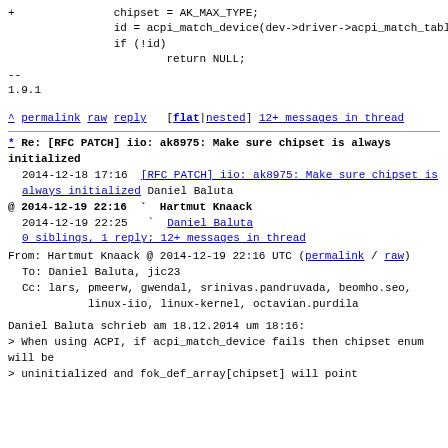+		chipset = AK_MAX_TYPE;
		id = acpi_match_device(dev->driver->acpi_match_table, dev);
		if (!id)
			return NULL;
--
1.9.1
^ permalink raw reply [flat|nested] 12+ messages in thread
* Re: [RFC PATCH] iio: ak8975: Make sure chipset is always initialized
2014-12-18 17:16 [RFC PATCH] iio: ak8975: Make sure chipset is always initialized Daniel Baluta
@ 2014-12-19 22:16 ` Hartmut Knaack
2014-12-19 22:25 ` Daniel Baluta
0 siblings, 1 reply; 12+ messages in thread
From: Hartmut Knaack @ 2014-12-19 22:16 UTC (permalink / raw)
To: Daniel Baluta, jic23
Cc: lars, pmeerw, gwendal, srinivas.pandruvada, beomho.seo,
        linux-iio, linux-kernel, octavian.purdila

Daniel Baluta schrieb am 18.12.2014 um 18:16:
> When using ACPI, if acpi_match_device fails then chipset enum will be
> uninitialized and fok_def_array[chipset] will point